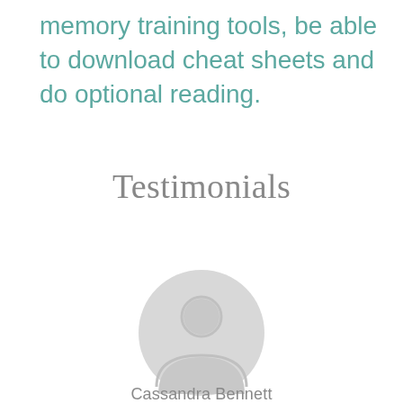memory training tools, be able to download cheat sheets and do optional reading.
Testimonials
[Figure (illustration): Generic user avatar placeholder icon — a light gray circle containing a simple person silhouette (head circle and body shape)]
Cassandra Bennett